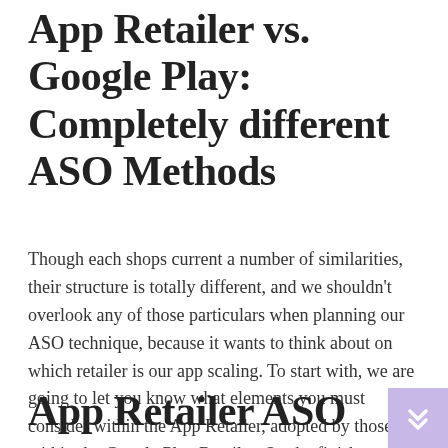App Retailer vs. Google Play: Completely different ASO Methods
Though each shops current a number of similarities, their structure is totally different, and we shouldn't overlook any of those particulars when planning our ASO technique, because it wants to think about on which retailer is our app scaling. To start with, we are going to let you know what elements you must consider within the App Retailer, adopted by those within the Google Play Retailer. On the finish we are going to connect a recap desk with all of the variations to make it simpler for you.
App Retailer ASO